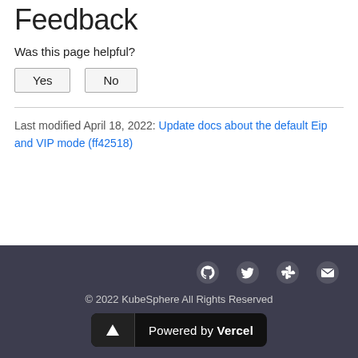Feedback
Was this page helpful?
Yes   No
Last modified April 18, 2022: Update docs about the default Eip and VIP mode (ff42518)
© 2022 KubeSphere All Rights Reserved  Powered by Vercel